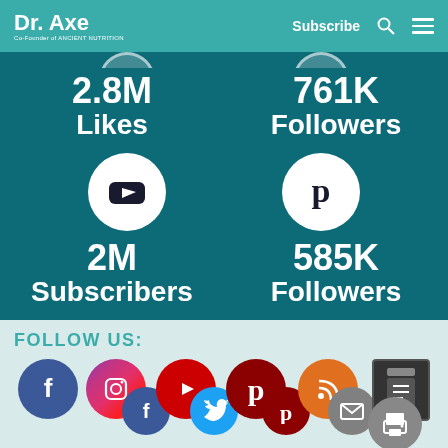Dr. Axe — Co-Founder of Ancient Nutrition | Subscribe
[Figure (infographic): Social media stats on teal background: Facebook 2.8M Likes, Twitter 761K Followers, YouTube 2M Subscribers, Pinterest 585K Followers]
FOLLOW US:
[Figure (infographic): Row of social media icons: Facebook, Instagram, Facebook small, YouTube, Twitter, Pinterest, Pinterest small, RSS/Email, Email, Info button, Print button]